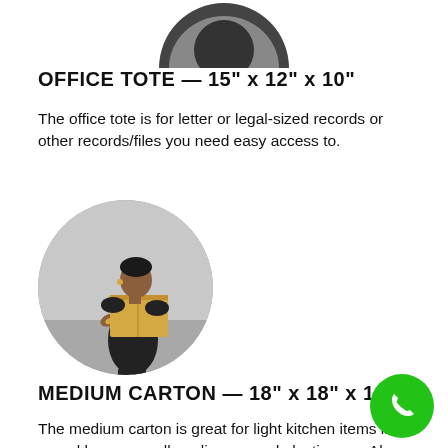[Figure (photo): Partial circular crop of a black and white object at the top of the page, cropped at top edge]
OFFICE TOTE — 15" x 12" x 10"
The office tote is for letter or legal-sized records or other records/files you need easy access to.
[Figure (photo): Circular photo of a woman in a black dress holding a large brown cardboard box, standing against a gray background]
MEDIUM CARTON — 18" x 18" x 16"
The medium carton is great for light kitchen items like cereal boxes, small appliances and plasticware. Also used